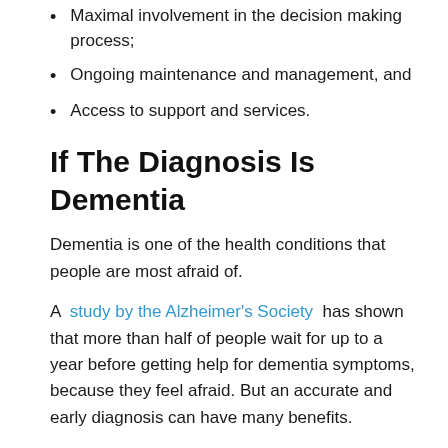Maximal involvement in the decision making process;
Ongoing maintenance and management, and
Access to support and services.
If The Diagnosis Is Dementia
Dementia is one of the health conditions that people are most afraid of.
A study by the Alzheimer's Society has shown that more than half of people wait for up to a year before getting help for dementia symptoms, because they feel afraid. But an accurate and early diagnosis can have many benefits.
After you've had the necessary tests , your doctor should ask if you want to know your diagnosis.